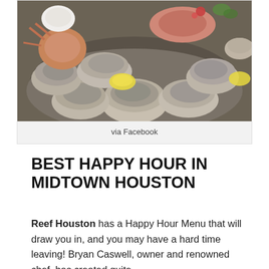[Figure (photo): Photo of a seafood platter featuring multiple open oysters on the half-shell arranged on ice, along with other shellfish and seafood items with lemon wedges and accompaniments.]
via Facebook
BEST HAPPY HOUR IN MIDTOWN HOUSTON
Reef Houston has a Happy Hour Menu that will draw you in, and you may have a hard time leaving! Bryan Caswell, owner and renowned chef, has created quite